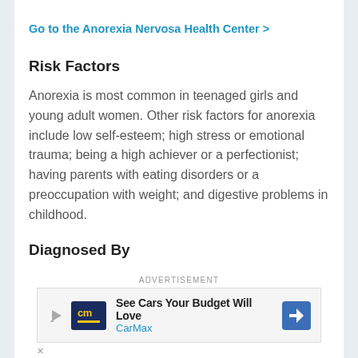Go to the Anorexia Nervosa Health Center >
Risk Factors
Anorexia is most common in teenaged girls and young adult women. Other risk factors for anorexia include low self-esteem; high stress or emotional trauma; being a high achiever or a perfectionist; having parents with eating disorders or a preoccupation with weight; and digestive problems in childhood.
Diagnosed By
The doctor will ask questions and examine you. You
ADVERTISEMENT
[Figure (other): CarMax advertisement banner reading 'See Cars Your Budget Will Love' with CarMax logo and navigation arrow icon]